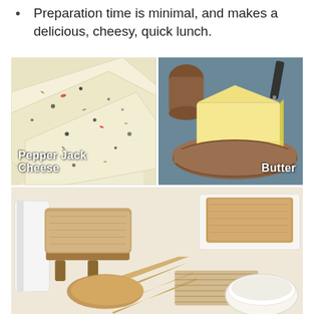Preparation time is minimal, and makes a delicious, cheesy, quick lunch.
[Figure (photo): Four-panel food ingredient photo grid: top-left shows sliced Pepper Jack Cheese with herb and pepper flecks; top-right shows a block of Butter on a wooden cutting board; bottom spans full width showing sliced bread loaves on a wooden surface with a bowl of flour]
Pepper Jack Cheese, Butter, Bread